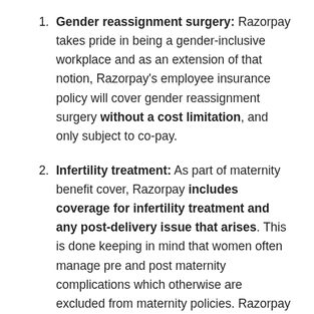Gender reassignment surgery: Razorpay takes pride in being a gender-inclusive workplace and as an extension of that notion, Razorpay's employee insurance policy will cover gender reassignment surgery without a cost limitation, and only subject to co-pay.
Infertility treatment: As part of maternity benefit cover, Razorpay includes coverage for infertility treatment and any post-delivery issue that arises. This is done keeping in mind that women often manage pre and post maternity complications which otherwise are excluded from maternity policies. Razorpay has also increased the maternity benefit cover from INR 50,000+